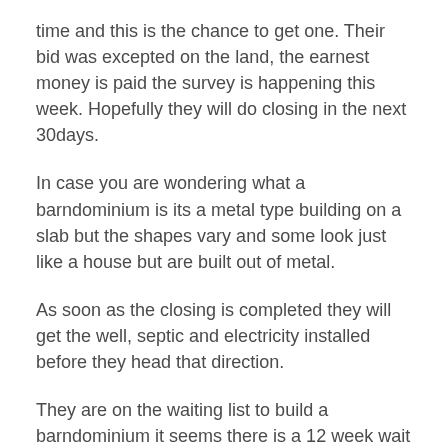time and this is the chance to get one. Their bid was excepted on the land, the earnest money is paid the survey is happening this week. Hopefully they will do closing in the next 30days.
In case you are wondering what a barndominium is its a metal type building on a slab but the shapes vary and some look just like a house but are built out of metal.
As soon as the closing is completed they will get the well, septic and electricity installed before they head that direction.
They are on the waiting list to build a barndominium it seems there is a 12 week wait for them to start. This involves a deposit to hold it at the current price.